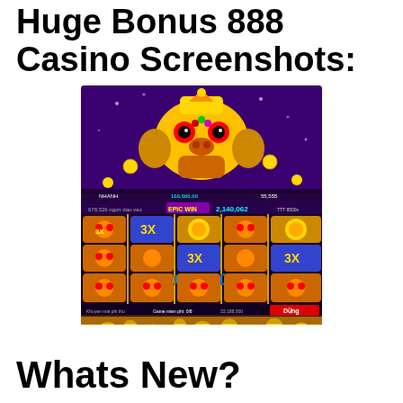Huge Bonus 888 Casino Screenshots:
[Figure (screenshot): Screenshot of Classic Slot casino mobile game showing a lion dance character, slot reels with multipliers (3X), an EPIC WIN display showing 2,140,062, a large win number 326,592,000, and a purple/gold banner reading 'Classic Slot' at the bottom. There is a 'Dừng' button visible.]
Whats New?